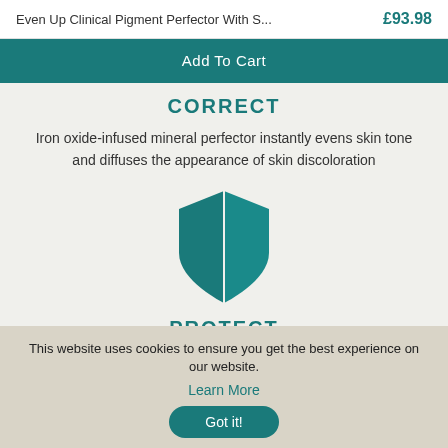Even Up Clinical Pigment Perfector With S...   £93.98
Add To Cart
CORRECT
Iron oxide-infused mineral perfector instantly evens skin tone and diffuses the appearance of skin discoloration
[Figure (illustration): Teal shield icon split into two halves by a vertical line]
PROTECT
This website uses cookies to ensure you get the best experience on our website.
Learn More
Got it!